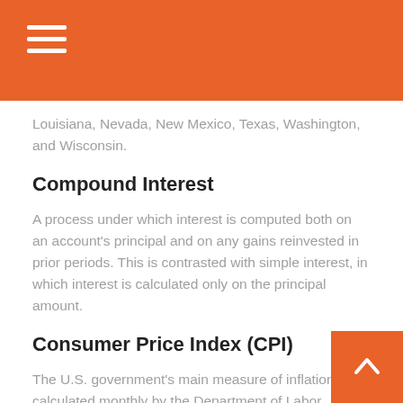Louisiana, Nevada, New Mexico, Texas, Washington, and Wisconsin.
Compound Interest
A process under which interest is computed both on an account's principal and on any gains reinvested in prior periods. This is contrasted with simple interest, in which interest is calculated only on the principal amount.
Consumer Price Index (CPI)
The U.S. government's main measure of inflation, calculated monthly by the Department of Labor.
Convertible Term Insurance
A term life insurance policy under which the policyholder has the right to convert the policy to permanent life